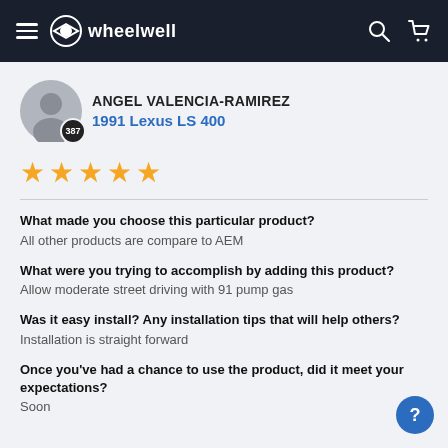wheelwell
ANGEL VALENCIA-RAMIREZ
1991 Lexus LS 400
[Figure (other): 5-star rating display with orange stars]
What made you choose this particular product?
All other products are compare to AEM
What were you trying to accomplish by adding this product?
Allow moderate street driving with 91 pump gas
Was it easy install? Any installation tips that will help others?
Installation is straight forward
Once you've had a chance to use the product, did it meet your expectations?
Soon